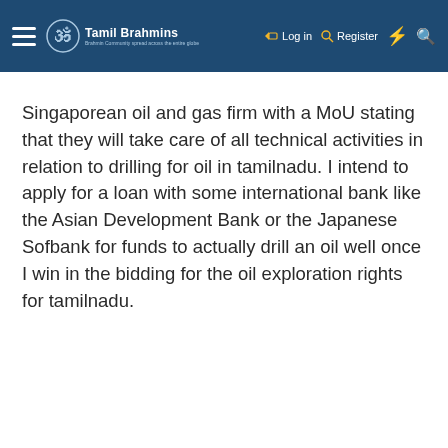Tamil Brahmins — Log in | Register
Singaporean oil and gas firm with a MoU stating that they will take care of all technical activities in relation to drilling for oil in tamilnadu. I intend to apply for a loan with some international bank like the Asian Development Bank or the Japanese Sofbank for funds to actually drill an oil well once I win in the bidding for the oil exploration rights for tamilnadu.